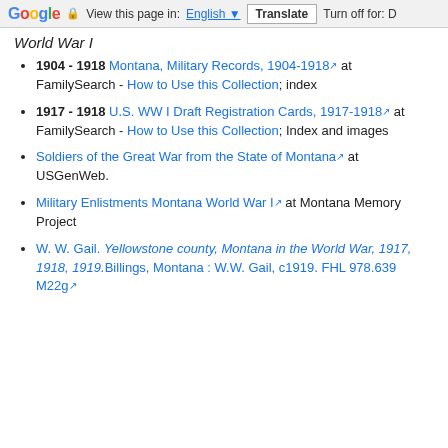Google  View this page in: English  Translate  Turn off for: D
World War I
1904 - 1918 Montana, Military Records, 1904-1918 at FamilySearch - How to Use this Collection; index
1917 - 1918 U.S. WW I Draft Registration Cards, 1917-1918 at FamilySearch - How to Use this Collection; Index and images
Soldiers of the Great War from the State of Montana at USGenWeb.
Military Enlistments Montana World War I at Montana Memory Project
W. W. Gail. Yellowstone county, Montana in the World War, 1917, 1918, 1919.Billings, Montana : W.W. Gail, c1919. FHL 978.639 M22g